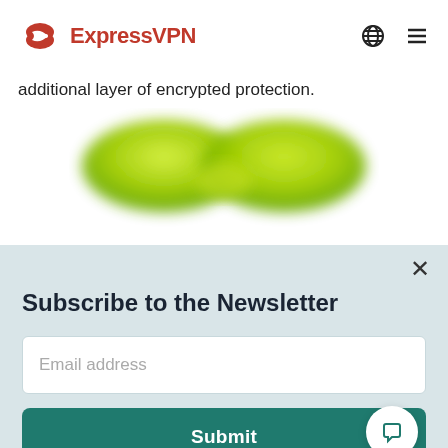ExpressVPN
additional layer of encrypted protection.
[Figure (illustration): Blurred green sunglasses/goggles illustration on white background]
Subscribe to the Newsletter
Email address
Submit